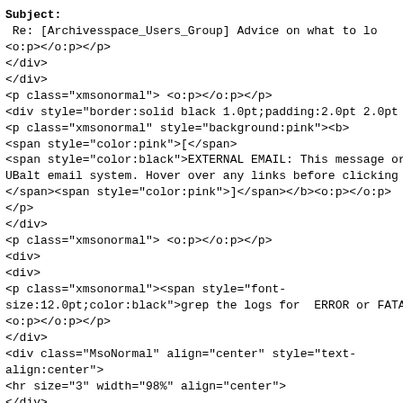<b>Subject:
</b> Re: [Archivesspace_Users_Group] Advice on what to lo
<o:p></o:p></p>
</div>
</div>
<p class="xmsonormal"> <o:p></o:p></p>
<div style="border:solid black 1.0pt;padding:2.0pt 2.0pt
<p class="xmsonormal" style="background:pink"><b>
<span style="color:pink">[</span>
<span style="color:black">EXTERNAL EMAIL: This message or
UBalt email system. Hover over any links before clicking
</span><span style="color:pink">]</span></b><o:p></o:p></p>
</p>
</div>
<p class="xmsonormal"> <o:p></o:p></p>
<div>
<div>
<p class="xmsonormal"><span style="font-
size:12.0pt;color:black">grep the logs for  ERROR or FATA
<o:p></o:p></p>
</div>
<div class="MsoNormal" align="center" style="text-
align:center">
<hr size="3" width="98%" align="center">
</div>
<div id="x_divRplyFwdMsg">
<p class="xmsonormal"><b>
<span style="color:black">From:</span></b>
<span style="color:black">
</span><a href="mailto:archivesspace_users_group-